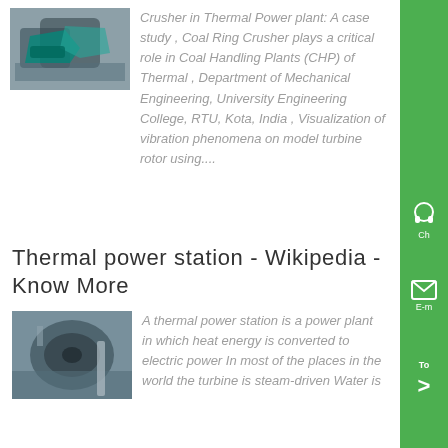[Figure (photo): Industrial coal crusher machine with green machinery parts visible in background]
Crusher in Thermal Power plant: A case study , Coal Ring Crusher plays a critical role in Coal Handling Plants (CHP) of Thermal , Department of Mechanical Engineering, University Engineering College, RTU, Kota, India , Visualization of vibration phenomena on model turbine rotor using....
Thermal power station - Wikipedia - Know More
[Figure (photo): Industrial roller or drum machinery in a factory setting with workers visible]
A thermal power station is a power plant in which heat energy is converted to electric power In most of the places in the world the turbine is steam-driven Water is